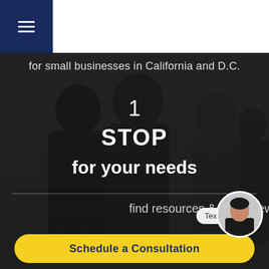for small businesses in California and D.C.
1
STOP
for your needs
find resources & latest news
Text us
[Figure (photo): Circular avatar photo of a woman in professional attire]
Schedule a Consultation